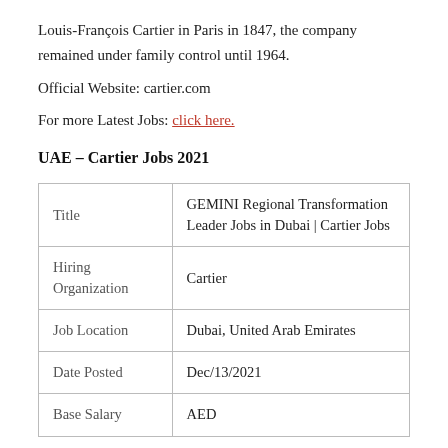Louis-François Cartier in Paris in 1847, the company remained under family control until 1964.
Official Website: cartier.com
For more Latest Jobs: click here.
UAE – Cartier Jobs 2021
| Title | GEMINI Regional Transformation Leader Jobs in Dubai | Cartier Jobs |
| Hiring Organization | Cartier |
| Job Location | Dubai, United Arab Emirates |
| Date Posted | Dec/13/2021 |
| Base Salary | AED |